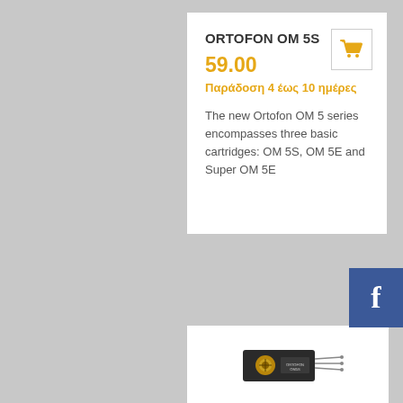ORTOFON OM 5S
59.00
Παράδοση 4 έως 10 ημέρες
The new Ortofon OM 5 series encompasses three basic cartridges: OM 5S, OM 5E and Super OM 5E
[Figure (illustration): Shopping cart icon in golden/orange color inside a square bordered button]
[Figure (logo): Facebook 'f' logo in white on blue square background]
[Figure (photo): Photo of a black audio cartridge/stylus component (Ortofon OM 5S) with gold threading]